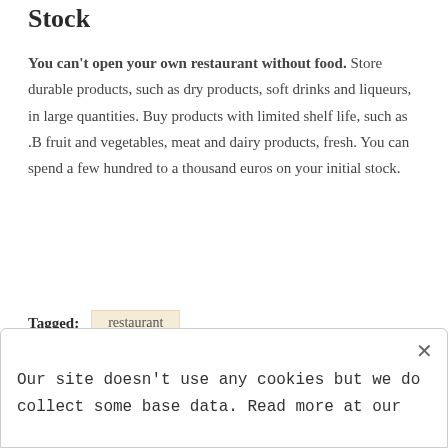Stock
You can't open your own restaurant without food. Store durable products, such as dry products, soft drinks and liqueurs, in large quantities. Buy products with limited shelf life, such as .B fruit and vegetables, meat and dairy products, fresh. You can spend a few hundred to a thousand euros on your initial stock.
Tagged: restaurant
Our site doesn't use any cookies but we do collect some base data. Read more at our